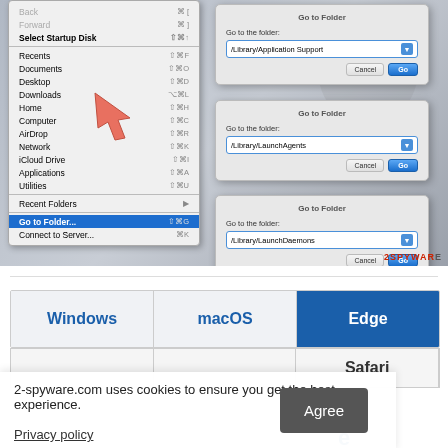[Figure (screenshot): macOS Finder 'Go' menu open showing options including 'Go to Folder...' highlighted, alongside three 'Go to Folder' dialogs with /Library/Application Support, /Library/LaunchAgents, and /Library/LaunchDaemons entered respectively. A red arrow points to 'Go to Folder...' option. Watermark '2SPYWARE' in bottom right.]
| Windows | macOS | Edge |
| --- | --- | --- |
|  |  | Safari |
2-spyware.com uses cookies to ensure you get the best experience.
Privacy policy
Agree